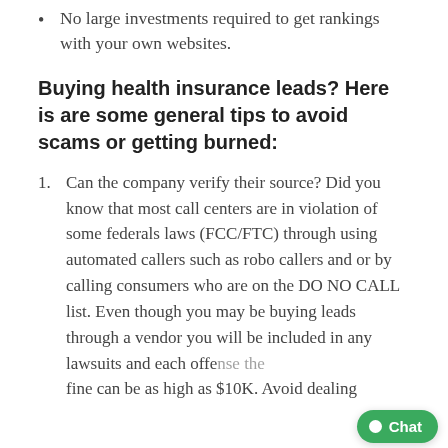No large investments required to get rankings with your own websites.
Buying health insurance leads? Here is are some general tips to avoid scams or getting burned:
Can the company verify their source? Did you know that most call centers are in violation of some federals laws (FCC/FTC) through using automated callers such as robo callers and or by calling consumers who are on the DO NO CALL list. Even though you may be buying leads through a vendor you will be included in any lawsuits and each offense the fine can be as high as $10K. Avoid dealing